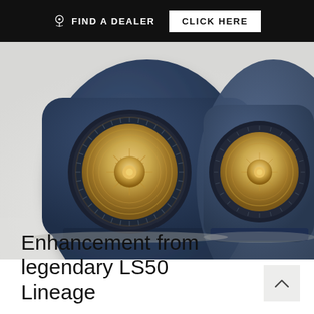FIND A DEALER   CLICK HERE
[Figure (photo): Two KEF LS50 loudspeakers in midnight blue finish with gold concentric driver units, photographed on a white/light grey background, side by side.]
Enhancement from legendary LS50 Lineage